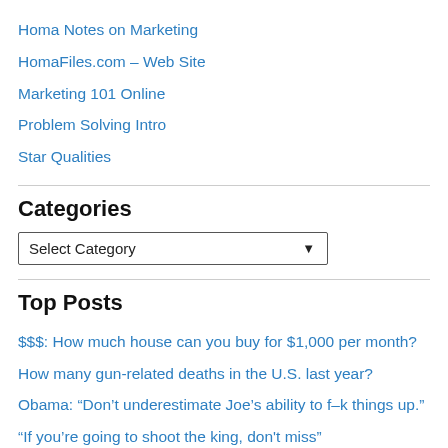Homa Notes on Marketing
HomaFiles.com – Web Site
Marketing 101 Online
Problem Solving Intro
Star Qualities
Categories
Select Category (dropdown)
Top Posts
$$$: How much house can you buy for $1,000 per month?
How many gun-related deaths in the U.S. last year?
Obama: “Don’t underestimate Joe’s ability to f–k things up.”
“If you’re going to shoot the king, don't miss”
Gotcha: Why I won’t go back to Olive Garden …
#14 – Why I’m lukewarm to climate change …